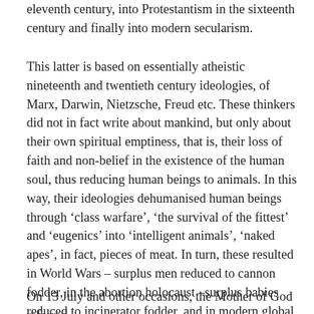eleventh century, into Protestantism in the sixteenth century and finally into modern secularism.
This latter is based on essentially atheistic nineteenth and twentieth century ideologies, of Marx, Darwin, Nietzsche, Freud etc. These thinkers did not in fact write about mankind, but only about their own spiritual emptiness, that is, their loss of faith and non-belief in the existence of the human soul, thus reducing human beings to animals. In this way, their ideologies dehumanised human beings through ‘class warfare’, ‘the survival of the fittest’ and ‘eugenics’ into ‘intelligent animals’, ‘naked apes’, in fact, pieces of meat. In turn, these resulted in World Wars – surplus men reduced to cannon fodder, in the abortion holocaust –surplus babies reduced to incinerator fodder, and in modern global consumerism – surplus human-beings worldwide reduced to debt fodder.
On 13 July and other occasions, the Mother of God referred